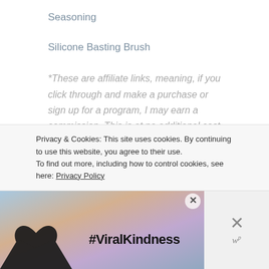Seasoning
Silicone Basting Brush
*These are affiliate links, meaning, if you click through and make a purchase or sign up for a program, I may earn a commission. This is at no additional cost to you.
Privacy & Cookies: This site uses cookies. By continuing to use this website, you agree to their use.
To find out more, including how to control cookies, see here: Privacy Policy
[Figure (infographic): Advertisement banner with #ViralKindness text and heart hands silhouette against colorful sky background, with close X button]